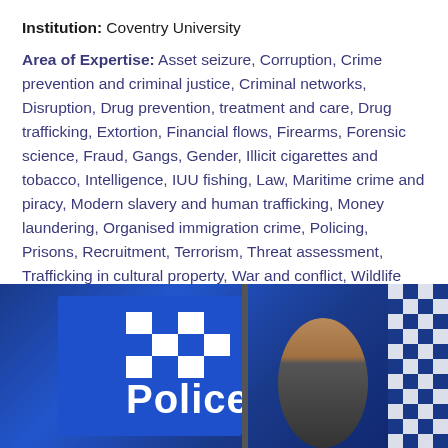Institution: Coventry University
Area of Expertise: Asset seizure, Corruption, Crime prevention and criminal justice, Criminal networks, Disruption, Drug prevention, treatment and care, Drug trafficking, Extortion, Financial flows, Firearms, Forensic science, Fraud, Gangs, Gender, Illicit cigarettes and tobacco, Intelligence, IUU fishing, Law, Maritime crime and piracy, Modern slavery and human trafficking, Money laundering, Organised immigration crime, Policing, Prisons, Recruitment, Terrorism, Threat assessment, Trafficking in cultural property, War and conflict, Wildlife and forest crime
[Figure (photo): Australian Police sign with blue and white checkered logo and the word 'Police' in white text, with a person visible to the right and a checkered strip on the far right edge]